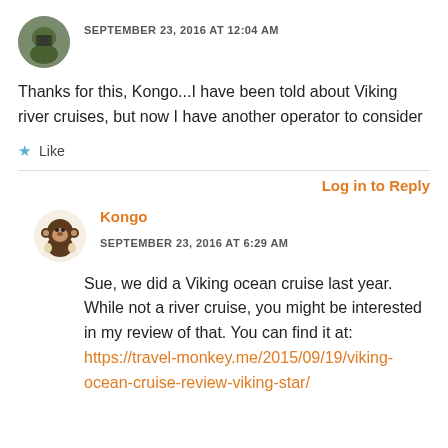SEPTEMBER 23, 2016 AT 12:04 AM
Thanks for this, Kongo...I have been told about Viking river cruises, but now I have another operator to consider
Like
Log in to Reply
Kongo
SEPTEMBER 23, 2016 AT 6:29 AM
Sue, we did a Viking ocean cruise last year. While not a river cruise, you might be interested in my review of that. You can find it at: https://travel-monkey.me/2015/09/19/viking-ocean-cruise-review-viking-star/